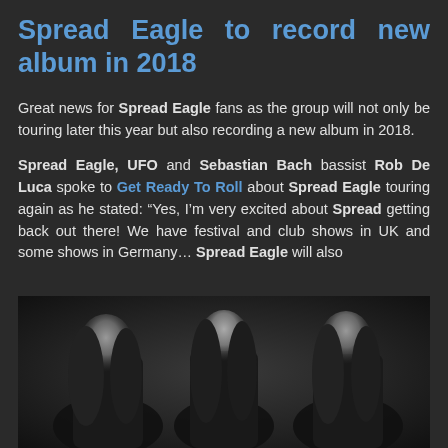Spread Eagle to record new album in 2018
Great news for Spread Eagle fans as the group will not only be touring later this year but also recording a new album in 2018.
Spread Eagle, UFO and Sebastian Bach bassist Rob De Luca spoke to Get Ready To Roll about Spread Eagle touring again as he stated: “Yes, I’m very excited about Spread getting back out there! We have festival and club shows in UK and some shows in Germany… Spread Eagle will also
[Figure (photo): Black and white photo of three band members with long hair, dark background]